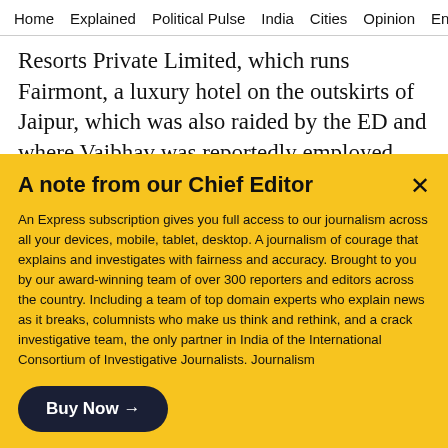Home  Explained  Political Pulse  India  Cities  Opinion  Entertainment
Resorts Private Limited, which runs Fairmont, a luxury hotel on the outskirts of Jaipur, which was also raided by the ED and where Vaibhav was reportedly employed once. In March 2022, Vaibhav was again in news for an alleged fraud of Rs 6.80 crore, after an FIR was filed against him
A note from our Chief Editor
An Express subscription gives you full access to our journalism across all your devices, mobile, tablet, desktop. A journalism of courage that explains and investigates with fairness and accuracy. Brought to you by our award-winning team of over 300 reporters and editors across the country. Including a team of top domain experts who explain news as it breaks, columnists who make us think and rethink, and a crack investigative team, the only partner in India of the International Consortium of Investigative Journalists. Journalism
Buy Now →